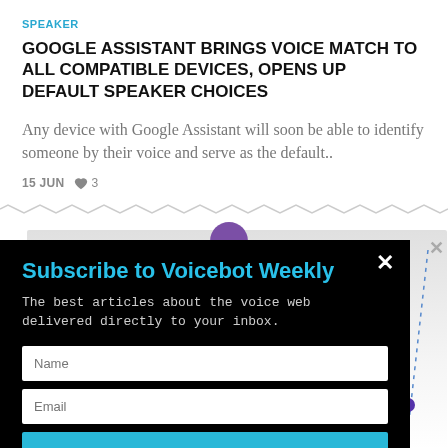SPEAKER
GOOGLE ASSISTANT BRINGS VOICE MATCH TO ALL COMPATIBLE DEVICES, OPENS UP DEFAULT SPEAKER CHOICES
Any device with Google Assistant will soon be able to identify someone by their voice and serve as the default..
15 JUN  ♥ 3
[Figure (screenshot): Popup modal on dark background with subscribe form. Title: Subscribe to Voicebot Weekly. Description text, Name and Email fields, and SUBSCRIBE button.]